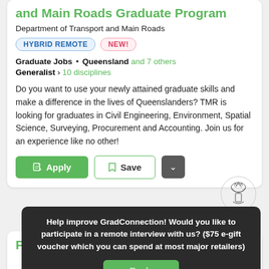and Main Roads Graduate Program
Department of Transport and Main Roads
HYBRID REMOTE   NEW!
Graduate Jobs • Queensland and 7 others
Generalist › 10 disciplines
Do you want to use your newly attained graduate skills and make a difference in the lives of Queenslanders? TMR is looking for graduates in Civil Engineering, Environment, Spatial Science, Surveying, Procurement and Accounting. Join us for an experience like no other!
Apply   Save
Help improve GradConnection! Would you like to participate in a remote interview with us? ($75 e-gift voucher which you can spend at most major retailers)
Reply
Per...ort